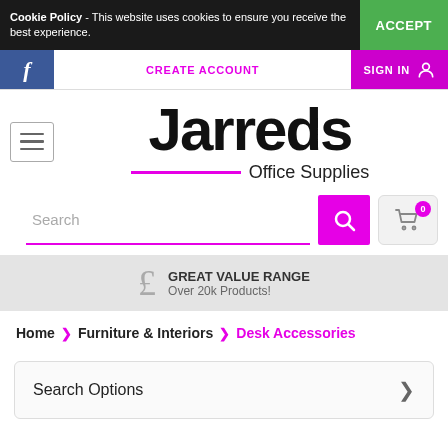Cookie Policy - This website uses cookies to ensure you receive the best experience. ACCEPT
f  CREATE ACCOUNT  SIGN IN
[Figure (logo): Jarreds Office Supplies logo with magenta underline and hamburger menu icon]
Search
£ GREAT VALUE RANGE Over 20k Products!
Home > Furniture & Interiors > Desk Accessories
Search Options >